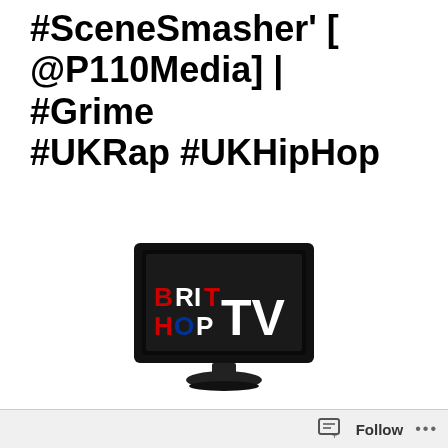#SceneSmasher' [ @P110Media] | #Grime #UKRap #UKHipHop
[Figure (logo): BritHop TV logo — a dark TV monitor displaying 'BRIT HOP TV' text with red, blue, white colored letters on black screen, with a stand beneath]
RomeyFIVE ( @RomeyFIVE) – ' #SceneSmasher'
[Figure (screenshot): YouTube video thumbnail for 'P110 - ROMEYfive [Scene Smasher]' showing dark video with P110 channel logo and title text, three-dot menu icon visible, with dark scene/music video imagery]
Follow ...